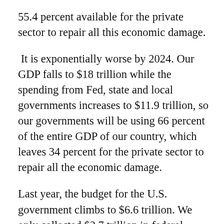55.4 percent available for the private sector to repair all this economic damage.
It is exponentially worse by 2024. Our GDP falls to $18 trillion while the spending from Fed, state and local governments increases to $11.9 trillion, so our governments will be using 66 percent of the entire GDP of our country, which leaves 34 percent for the private sector to repair all the economic damage.
Last year, the budget for the U.S. government climbs to $6.6 trillion. We only collected $2.7 trillion in federal taxes, which leaves a $3.9 trillion deficit. In 2024 our federal government will spend $7.1 trillion while only collecting